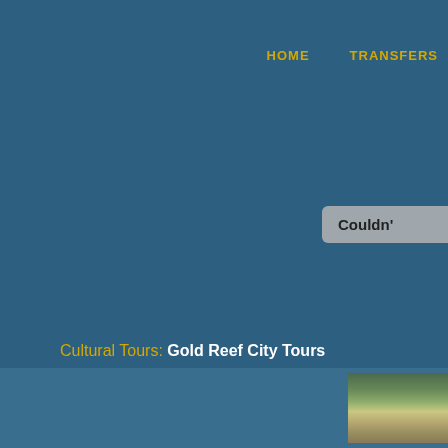HOME    TRANSFERS
Couldn'
Cultural Tours: Gold Reef City Tours
[Figure (photo): Partial thumbnail image visible at bottom right, showing outdoor scenery with greenery and earthen tones]